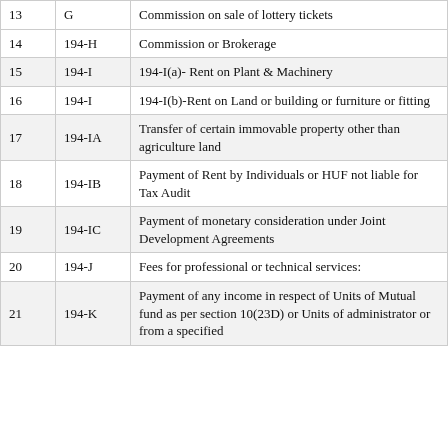| # | Section | Description |
| --- | --- | --- |
| 13 | G | Commission on sale of lottery tickets |
| 14 | 194-H | Commission or Brokerage |
| 15 | 194-I | 194-I(a)- Rent on Plant & Machinery |
| 16 | 194-I | 194-I(b)-Rent on Land or building or furniture or fitting |
| 17 | 194-IA | Transfer of certain immovable property other than agriculture land |
| 18 | 194-IB | Payment of Rent by Individuals or HUF not liable for Tax Audit |
| 19 | 194-IC | Payment of monetary consideration under Joint Development Agreements |
| 20 | 194-J | Fees for professional or technical services: |
| 21 | 194-K | Payment of any income in respect of Units of Mutual fund as per section 10(23D) or Units of administrator or from a specified |